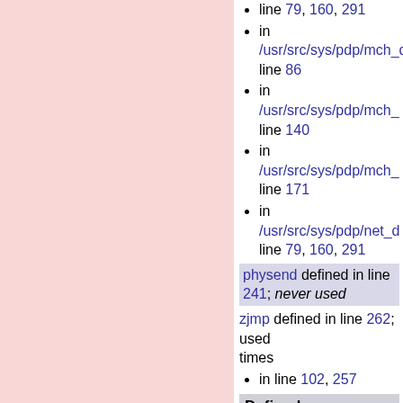in /usr/src/sys/pdp/mch_da... line 79, 160, 291
in /usr/src/sys/pdp/mch_da... line 86
in /usr/src/sys/pdp/mch_... line 140
in /usr/src/sys/pdp/mch_... line 171
in /usr/src/sys/pdp/net_d... line 79, 160, 291
physend defined in line 241; never used
zjmp defined in line 262; used 2 times
in line 102, 257
Defined macros
DEVTRAP defined in line 62; used 28 times
in line 106-114(5), 123-... 163-192(10), 203-210(5...
HANDLER defined in line 31... 26 times
in line 222-137(20)...